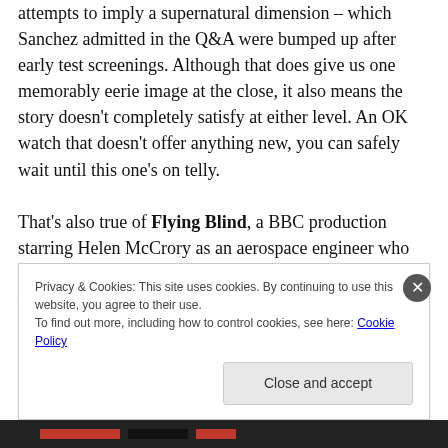attempts to imply a supernatural dimension – which Sanchez admitted in the Q&A were bumped up after early test screenings. Although that does give us one memorably eerie image at the close, it also means the story doesn't completely satisfy at either level. An OK watch that doesn't offer anything new, you can safely wait until this one's on telly.

That's also true of Flying Blind, a BBC production starring Helen McCrory as an aerospace engineer who starts a relationship with Algerian student – OR IS HE? – played
Privacy & Cookies: This site uses cookies. By continuing to use this website, you agree to their use.
To find out more, including how to control cookies, see here: Cookie Policy

Close and accept